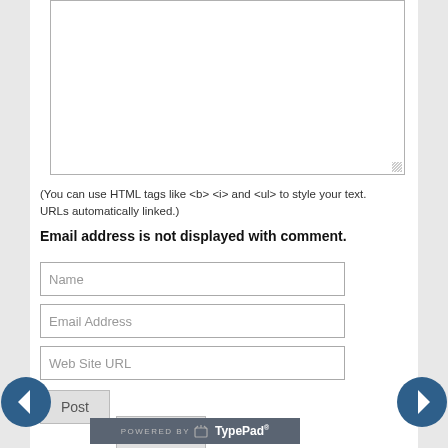[Figure (screenshot): A comment form textarea (top portion cut off), showing an empty multi-line text input box with resize handle]
(You can use HTML tags like <b> <i> and <ul> to style your text. URLs automatically linked.)
Email address is not displayed with comment.
[Figure (screenshot): Name input field with placeholder text 'Name']
[Figure (screenshot): Email Address input field with placeholder text 'Email Address']
[Figure (screenshot): Web Site URL input field with placeholder text 'Web Site URL']
[Figure (screenshot): Post and Preview buttons]
[Figure (screenshot): Navigation arrows (left and right) and Powered by TypePad logo at the bottom]